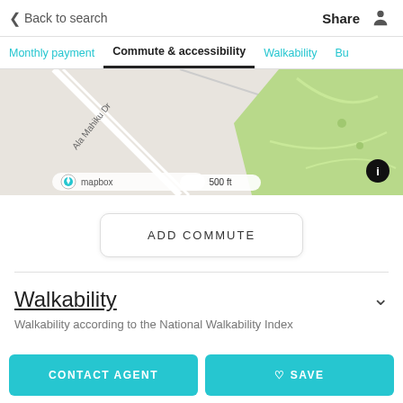< Back to search   Share
Monthly payment  Commute & accessibility  Walkability  Bu
[Figure (map): Mapbox street map showing local area with Ala Mahiku Dr label, green park area, 500 ft scale bar, and info button]
ADD COMMUTE
Walkability
Walkability according to the National Walkability Index
CONTACT AGENT
♡ SAVE